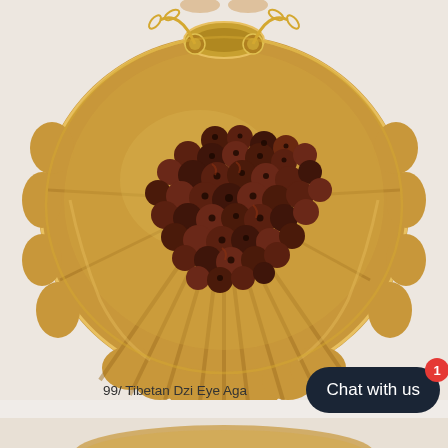[Figure (photo): A golden shell-shaped decorative dish/holder containing numerous dark brown reddish Tibetan Dzi Eye Agate beads with small holes through them, shot from above against a light background. A gold chain is visible at the top.]
99/ Tibetan Dzi Eye Aga
[Figure (photo): Chat with us button overlay — dark navy rounded rectangle with white text 'Chat with us' and a red notification badge showing '1'.]
[Figure (photo): Partial view of another golden shell dish at the very bottom of the page.]